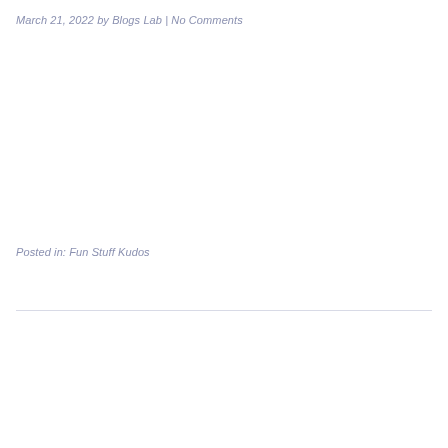March 21, 2022 by Blogs Lab | No Comments
Posted in: Fun Stuff Kudos